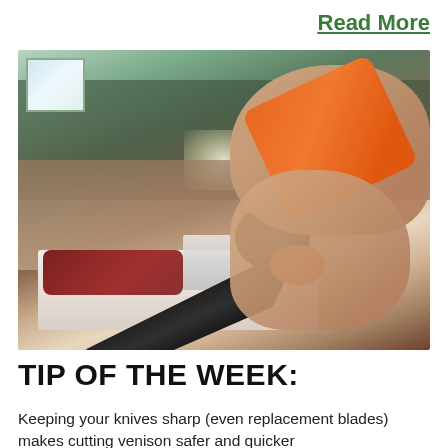Read More
[Figure (photo): A person sharpening an orange-handled knife with a black blade using a blade sharpener on a cutting board, with venison/meat visible in the background kitchen setting.]
TIP OF THE WEEK:
Keeping your knives sharp (even replacement blades) makes cutting venison safer and quicker